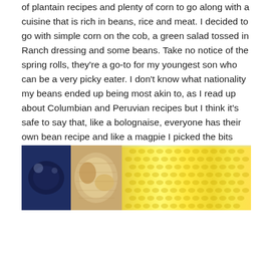of plantain recipes and plenty of corn to go along with a cuisine that is rich in beans, rice and meat. I decided to go with simple corn on the cob, a green salad tossed in Ranch dressing and some beans. Take no notice of the spring rolls, they're a go-to for my youngest son who can be a very picky eater. I don't know what nationality my beans ended up being most akin to, as I read up about Columbian and Peruvian recipes but I think it's safe to say that, like a bolognaise, everyone has their own bean recipe and like a magpie I picked the bits from a few different ones that I liked and came up with something pretty nice.
[Figure (photo): A wide horizontal photo showing food items including what appears to be corn on the cob (bright yellow kernels visible on the right side) and other food items on the left side including what looks like a dark bowl and some other dishes.]